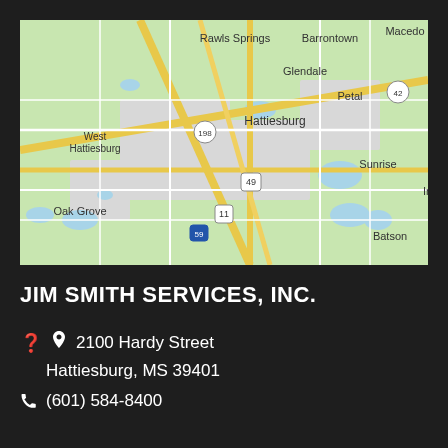[Figure (map): Google Maps view of Hattiesburg, MS area showing West Hattiesburg, Glendale, Rawls Springs, Barrontown, Petal, Hattiesburg, Oak Grove, Sunrise, Batson, and road markers for routes 198, 49, 11, 59, and 42.]
JIM SMITH SERVICES, INC.
2100 Hardy Street
Hattiesburg, MS 39401
(601) 584-8400